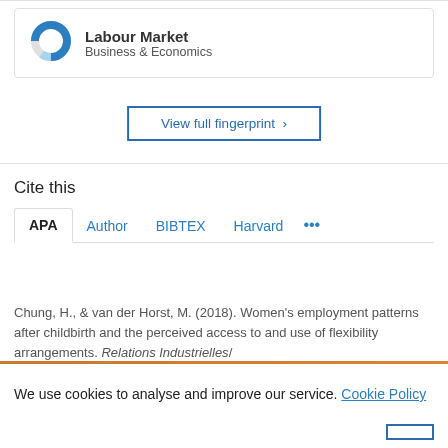[Figure (donut-chart): Donut chart icon for Labour Market topic, blue and grey colors]
Labour Market
Business & Economics
View full fingerprint >
Cite this
APA   Author   BIBTEX   Harvard   ...
Chung, H., & van der Horst, M. (2018). Women's employment patterns after childbirth and the perceived access to and use of flexibility arrangements. Relations Industrielles/Industrial Relations, 73(1), (pp. ...
We use cookies to analyse and improve our service. Cookie Policy